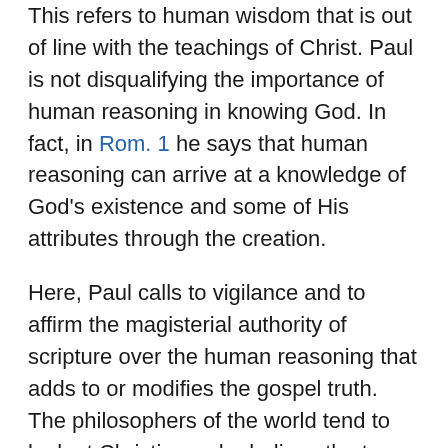This refers to human wisdom that is out of line with the teachings of Christ. Paul is not disqualifying the importance of human reasoning in knowing God. In fact, in Rom. 1 he says that human reasoning can arrive at a knowledge of God's existence and some of His attributes through the creation.
Here, Paul calls to vigilance and to affirm the magisterial authority of scripture over the human reasoning that adds to or modifies the gospel truth. The philosophers of the world tend to look at Christians who believe the true gospel revealed in the scripture as ignorant, and unsophisticated fools. A frequent comment I receive from some people is that 'I am very narrow-minded, I